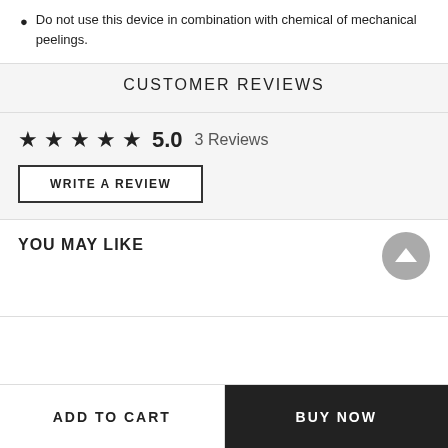Do not use this device in combination with chemical of mechanical peelings.
CUSTOMER REVIEWS
★★★★★ 5.0  3 Reviews
WRITE A REVIEW
YOU MAY LIKE
ADD TO CART
BUY NOW